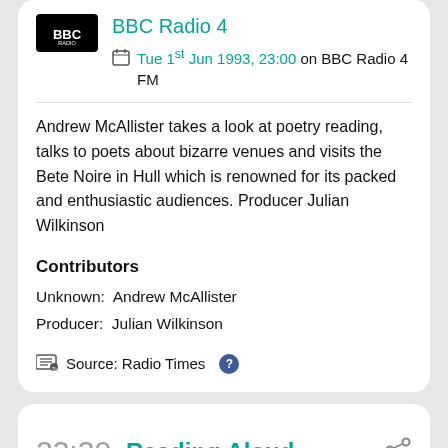[Figure (logo): BBC Radio 4 logo — black rectangle with BBC text in white]
BBC Radio 4
Tue 1st Jun 1993, 23:00 on BBC Radio 4 FM
Andrew McAllister takes a look at poetry reading, talks to poets about bizarre venues and visits the Bete Noire in Hull which is renowned for its packed and enthusiastic audiences. Producer Julian Wilkinson
Contributors
Unknown:  Andrew McAllister
Producer:  Julian Wilkinson
Source: Radio Times
23:30
Reading Aloud